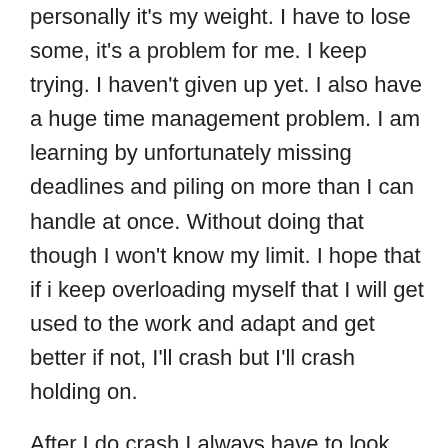personally it's my weight. I have to lose some, it's a problem for me. I keep trying. I haven't given up yet. I also have a huge time management problem. I am learning by unfortunately missing deadlines and piling on more than I can handle at once. Without doing that though I won't know my limit. I hope that if i keep overloading myself that I will get used to the work and adapt and get better if not, I'll crash but I'll crash holding on.
After I do crash I always have to look around and see what's left. What went wrong and how can I get up again and move forward. DO YOU DO THAT?